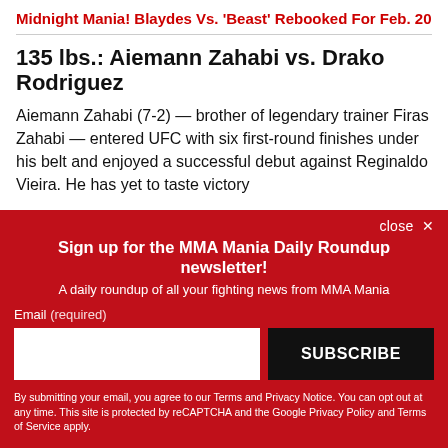Midnight Mania! Blaydes Vs. ‘Beast’ Rebooked For Feb. 20
135 lbs.: Aiemann Zahabi vs. Drako Rodriguez
Aiemann Zahabi (7-2) — brother of legendary trainer Firas Zahabi — entered UFC with six first-round finishes under his belt and enjoyed a successful debut against Reginaldo Vieira. He has yet to taste victory
close ×
Sign up for the MMA Mania Daily Roundup newsletter!
A daily roundup of all your fighting news from MMA Mania
Email (required)
SUBSCRIBE
By submitting your email, you agree to our Terms and Privacy Notice. You can opt out at any time. This site is protected by reCAPTCHA and the Google Privacy Policy and Terms of Service apply.